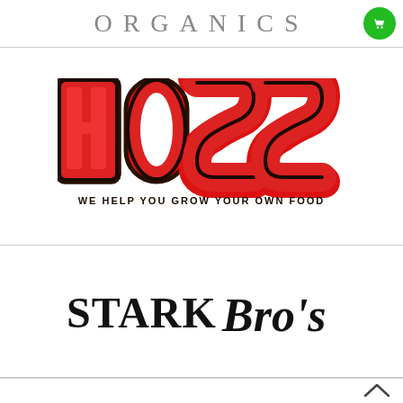ORGANICS
[Figure (logo): HOSS logo in red bold letters with tagline WE HELP YOU GROW YOUR OWN FOOD]
[Figure (logo): Stark Bro's logo in serif font with script styling]